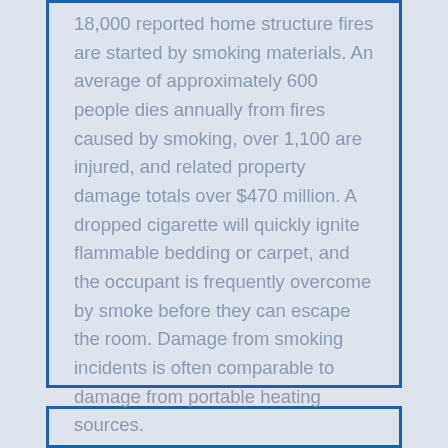18,000 reported home structure fires are started by smoking materials. An average of approximately 600 people dies annually from fires caused by smoking, over 1,100 are injured, and related property damage totals over $470 million. A dropped cigarette will quickly ignite flammable bedding or carpet, and the occupant is frequently overcome by smoke before they can escape the room. Damage from smoking incidents is often comparable to damage from portable heating sources.